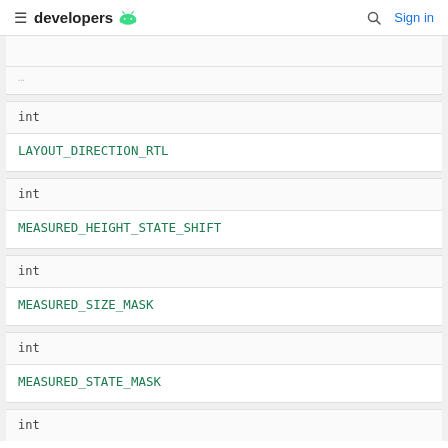developers [android logo] | Search | Sign in
| Type | Name |
| --- | --- |
| (truncated) | (truncated) |
| int |  |
|  | LAYOUT_DIRECTION_RTL |
| int |  |
|  | MEASURED_HEIGHT_STATE_SHIFT |
| int |  |
|  | MEASURED_SIZE_MASK |
| int |  |
|  | MEASURED_STATE_MASK |
| int |  |